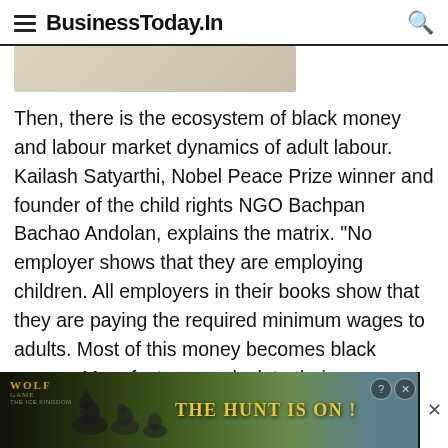BusinessToday.In
[Figure (photo): Partial image strip visible at top of page, cropped]
Then, there is the ecosystem of black money and labour market dynamics of adult labour. Kailash Satyarthi, Nobel Peace Prize winner and founder of the child rights NGO Bachpan Bachao Andolan, explains the matrix. "No employer shows that they are employing children. All employers in their books show that they are paying the required minimum wages to adults. Most of this money becomes black money. Manufacturers calculate their expenses in such a way that 30 to 60 per cent is shown as labour cost in overall production cost, and most of this money becomes black money," he says. This
[Figure (photo): Advertisement banner at bottom: Wolf game ad with wolves and text 'THE HUNT IS ON!']